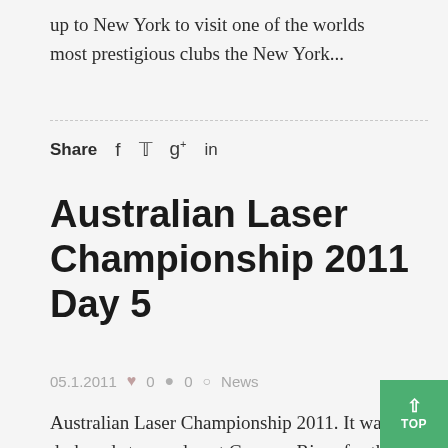up to New York to visit one of the worlds most prestigious clubs the New York...
Share  f  ✦  g+  in
Australian Laser Championship 2011 Day 5
05.1.2011  ♥ 0  ● 0  ✦ News
Australian Laser Championship 2011. It was a dark and stormy day at Georges River for the penultimate day of the Australian Laser Championship. Two major systems